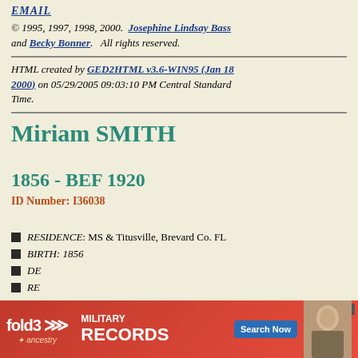EMAIL
© 1995, 1997, 1998, 2000.  Josephine Lindsay Bass and Becky Bonner.   All rights reserved.
HTML created by GED2HTML v3.6-WIN95 (Jan 18 2000) on 05/29/2005 09:03:10 PM Central Standard Time.
Miriam SMITH
1856 - BEF 1920
ID Number: I36038
RESIDENCE: MS & Titusville, Brevard Co. FL
BIRTH: 1856
DEATH:
RELIGION: